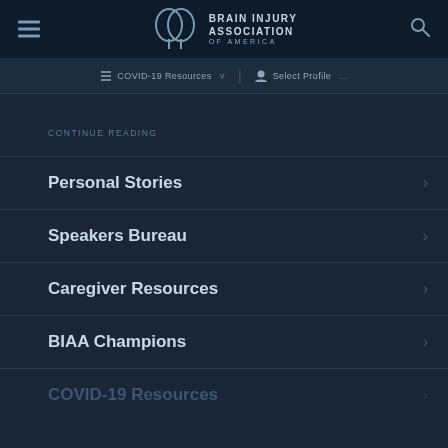Brain Injury Association of America
COVID-19 Resources | Select Profile
CONTINUE READING
Personal Stories
Speakers Bureau
Caregiver Resources
BIAA Champions
COVID-19 Resources